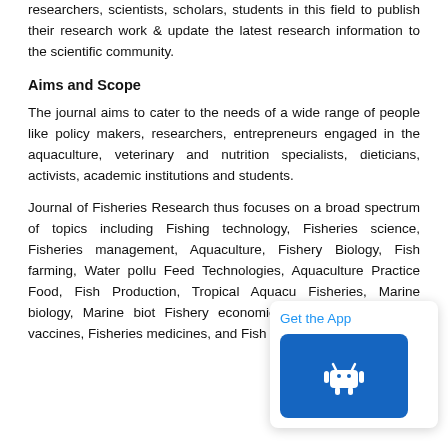researchers, scientists, scholars, students in this field to publish their research work & update the latest research information to the scientific community.
Aims and Scope
The journal aims to cater to the needs of a wide range of people like policy makers, researchers, entrepreneurs engaged in the aquaculture, veterinary and nutrition specialists, dieticians, activists, academic institutions and students.
Journal of Fisheries Research thus focuses on a broad spectrum of topics including Fishing technology, Fisheries science, Fisheries management, Aquaculture, Fishery Biology, Fish farming, Water pollu... Feed Technologies, Aquaculture Practice... Food, Fish Production, Tropical Aquacu... Fisheries, Marine biology, Marine biot... Fishery economics, Fisheries and pollu... vaccines, Fisheries medicines, and Fish genetics and genome.
[Figure (other): Get the App popup with Android app icon button]